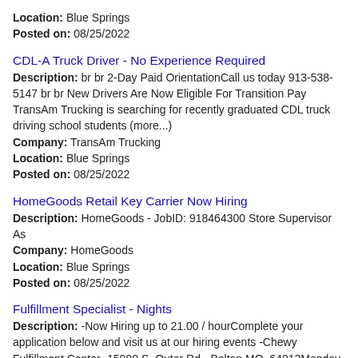Location: Blue Springs
Posted on: 08/25/2022
CDL-A Truck Driver - No Experience Required
Description: br br 2-Day Paid OrientationCall us today 913-538-5147 br br New Drivers Are Now Eligible For Transition Pay TransAm Trucking is searching for recently graduated CDL truck driving school students (more...)
Company: TransAm Trucking
Location: Blue Springs
Posted on: 08/25/2022
HomeGoods Retail Key Carrier Now Hiring
Description: HomeGoods - JobID: 918464300 Store Supervisor As
Company: HomeGoods
Location: Blue Springs
Posted on: 08/25/2022
Fulfillment Specialist - Nights
Description: -Now Hiring up to 21.00 / hourComplete your application below and visit us at our hiring events -Chewy Fulfillment Center -15999 S. Outer Rd, -Belton MO, 64012Monday - Thursday 9:00am to 4:00pm -Our (more...)
Company: Chewy